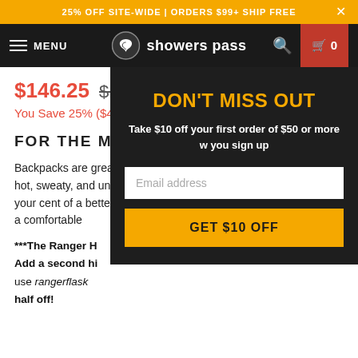25% OFF SITE-WIDE | ORDERS $99+ SHIP FREE
[Figure (screenshot): Showers Pass website navigation bar with hamburger menu, logo, search icon, and cart (0 items)]
$146.25 $195.00
You Save 25% ($48.75)
FOR THE MINIMALIST ADVENTURER
Backpacks are great, but they can become hot, sweaty, and uncomfortable. T raising your cent of a better soluti accommodate y in a comfortable
***The Ranger H Add a second hi use rangerflask half off!
[Figure (screenshot): Email signup modal popup with dark background, 'DON'T MISS OUT' heading in gold, subtitle 'Take $10 off your first order of $50 or more w you sign up', email address input field, and 'GET $10 OFF' gold button]